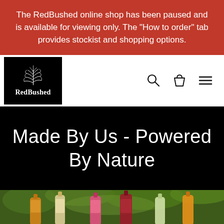The RedBushed online shop has been paused and is available for viewing only. The "How to order" tab provides stockist and shopping options.
[Figure (logo): RedBushed brand logo: black square background with white plant illustration and white text 'RedBushed' in serif font]
[Figure (other): Navigation icons: search magnifying glass, shopping bag, and hamburger menu lines]
Made By Us - Powered By Nature
[Figure (photo): Partial photo of beverage bottles with colorful liquids (orange, pink/red) with green leafy background, cropped at bottom of page]